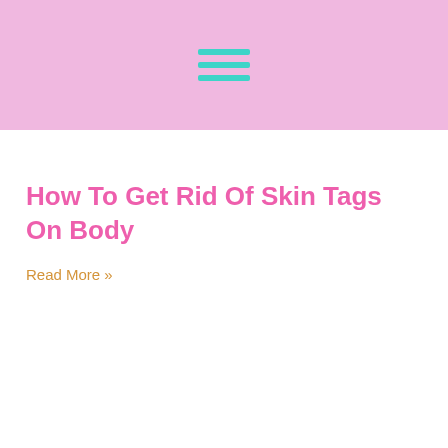[hamburger menu icon]
How To Get Rid Of Skin Tags On Body
Read More »